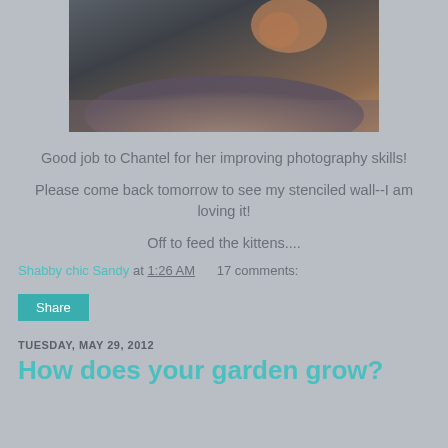[Figure (photo): Close-up photo of a cat or kitten on a carpet/fabric surface, dark and warm tones]
Good job to Chantel for her improving photography skills!
Please come back tomorrow to see my stenciled wall--I am loving it!
Off to feed the kittens....
Shabby chic Sandy at 1:26 AM   17 comments:
TUESDAY, MAY 29, 2012
How does your garden grow?